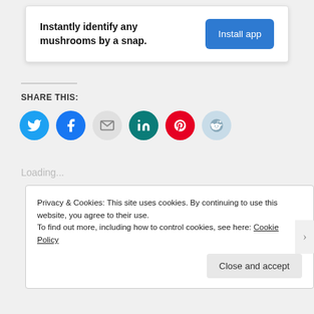[Figure (screenshot): Advertisement banner card with text 'Instantly identify any mushrooms by a snap.' and a blue 'Install app' button]
SHARE THIS:
[Figure (infographic): Row of six social sharing icon buttons: Twitter (blue), Facebook (blue), Email (gray), LinkedIn (teal), Pinterest (red), Reddit (light blue)]
Loading...
Privacy & Cookies: This site uses cookies. By continuing to use this website, you agree to their use. To find out more, including how to control cookies, see here: Cookie Policy
Close and accept